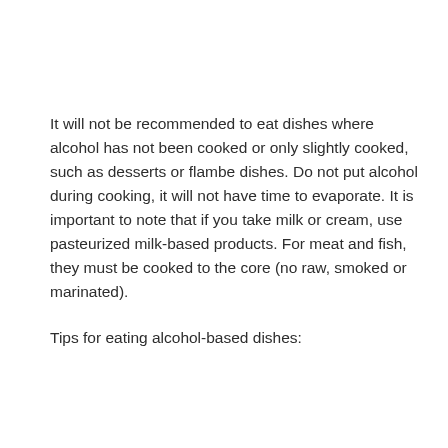It will not be recommended to eat dishes where alcohol has not been cooked or only slightly cooked, such as desserts or flambe dishes. Do not put alcohol during cooking, it will not have time to evaporate. It is important to note that if you take milk or cream, use pasteurized milk-based products. For meat and fish, they must be cooked to the core (no raw, smoked or marinated).
Tips for eating alcohol-based dishes: